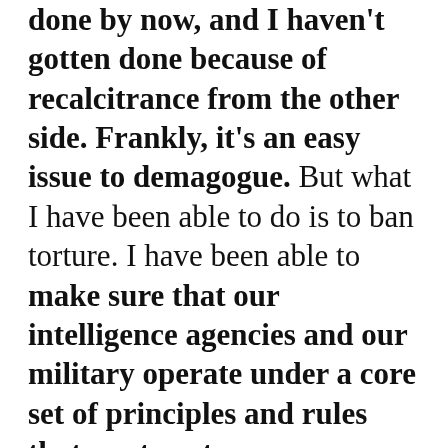done by now, and I haven't gotten done because of recalcitrance from the other side. Frankly, it's an easy issue to demagogue. But what I have been able to do is to ban torture. I have been able to make sure that our intelligence agencies and our military operate under a core set of principles and rules that are true to our